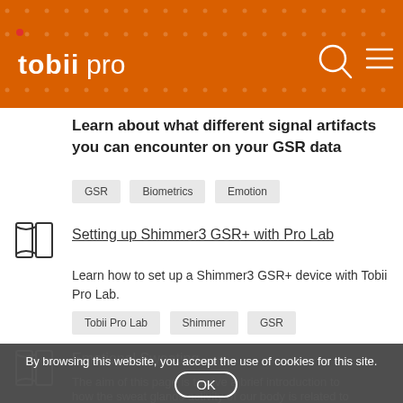tobii pro
Learn about what different signal artifacts you can encounter on your GSR data
GSR
Biometrics
Emotion
Setting up Shimmer3 GSR+ with Pro Lab
Learn how to set up a Shimmer3 GSR+ device with Tobii Pro Lab.
Tobii Pro Lab
Shimmer
GSR
Emotional Sweating
The aim of this page is to give a brief introduction to how the sweat glands activity of our body is related to
By browsing this website, you accept the use of cookies for this site.